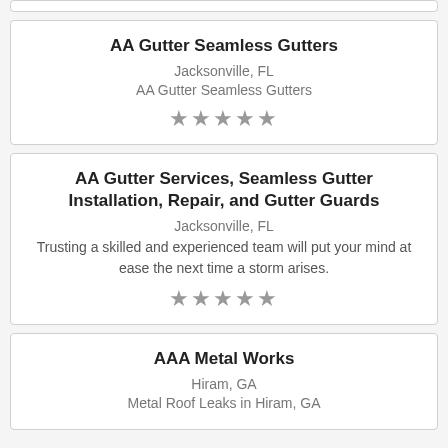AA Gutter Seamless Gutters
Jacksonville, FL
AA Gutter Seamless Gutters
AA Gutter Services, Seamless Gutter Installation, Repair, and Gutter Guards
Jacksonville, FL
Trusting a skilled and experienced team will put your mind at ease the next time a storm arises.
AAA Metal Works
Hiram, GA
Metal Roof Leaks in Hiram, GA